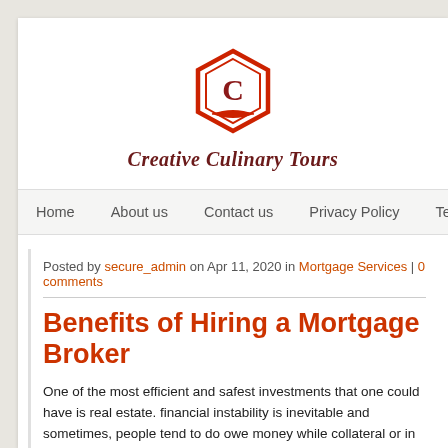[Figure (logo): Creative Culinary Tours logo: red hexagon with letter C inside, with open book at base]
Creative Culinary Tours
Home | About us | Contact us | Privacy Policy | Term
Posted by secure_admin on Apr 11, 2020 in Mortgage Services | 0 comments
Benefits of Hiring a Mortgage Broker
One of the most efficient and safest investments that one could have is real estate. financial instability is inevitable and sometimes, people tend to do owe money while collateral or in other words, a mortgage with a powerful lender. Sometimes this